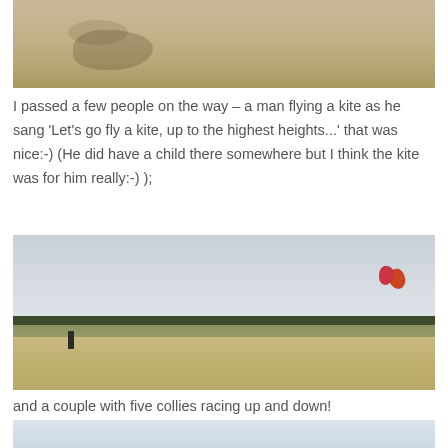[Figure (photo): Top portion of a sandy beach with footprints or marks visible in the sand, cropped view]
I passed a few people on the way – a man flying a kite as he sang 'Let's go fly a kite, up to the highest heights...' that was nice:-) (He did have a child there somewhere but I think the kite was for him really:-) );
[Figure (photo): A person standing on a wide sandy beach with sand dunes and dark forest trees in the background, overcast sky, and two kites visible in the upper right corner of the sky]
and a couple with five collies racing up and down!
[Figure (photo): Partial view of a calm seascape with pale sky and water, cropped at the bottom of the page]